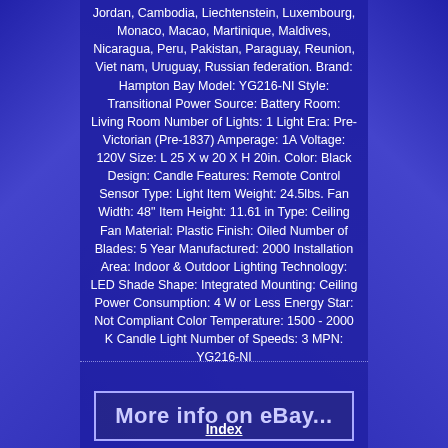Jordan, Cambodia, Liechtenstein, Luxembourg, Monaco, Macao, Martinique, Maldives, Nicaragua, Peru, Pakistan, Paraguay, Reunion, Viet nam, Uruguay, Russian federation. Brand: Hampton Bay Model: YG216-NI Style: Transitional Power Source: Battery Room: Living Room Number of Lights: 1 Light Era: Pre-Victorian (Pre-1837) Amperage: 1A Voltage: 120V Size: L 25 X w 20 X H 20in. Color: Black Design: Candle Features: Remote Control Sensor Type: Light Item Weight: 24.5lbs. Fan Width: 48" Item Height: 11.61 in Type: Ceiling Fan Material: Plastic Finish: Oiled Number of Blades: 5 Year Manufactured: 2000 Installation Area: Indoor & Outdoor Lighting Technology: LED Shade Shape: Integrated Mounting: Ceiling Power Consumption: 4 W or Less Energy Star: Not Compliant Color Temperature: 1500 - 2000 K Candle Light Number of Speeds: 3 MPN: YG216-NI
[Figure (other): Button/link styled element with text 'More info on eBay...' in large bold light blue font on dark blue background with light border]
Index